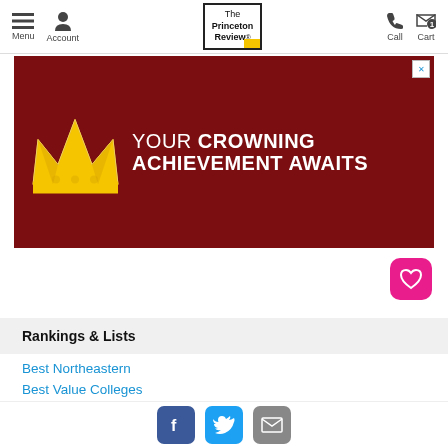Menu | Account | The Princeton Review | Call | Cart
[Figure (infographic): Advertisement banner with dark red background, gold crown graphic on left, white text reading 'YOUR CROWNING ACHIEVEMENT AWAITS']
[Figure (other): Pink heart icon button]
Rankings & Lists
Best Northeastern
Best Value Colleges
Green Colleges
The Best 388 Colleges
Top 20 Best Value Colleges w/o Aid    #19
Facebook | Twitter | Email